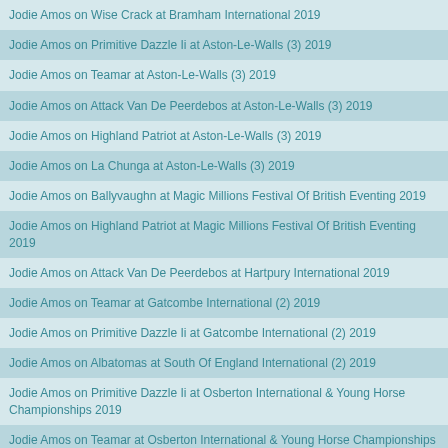Jodie Amos on Wise Crack at Bramham International 2019
Jodie Amos on Primitive Dazzle Ii at Aston-Le-Walls (3) 2019
Jodie Amos on Teamar at Aston-Le-Walls (3) 2019
Jodie Amos on Attack Van De Peerdebos at Aston-Le-Walls (3) 2019
Jodie Amos on Highland Patriot at Aston-Le-Walls (3) 2019
Jodie Amos on La Chunga at Aston-Le-Walls (3) 2019
Jodie Amos on Ballyvaughn at Magic Millions Festival Of British Eventing 2019
Jodie Amos on Highland Patriot at Magic Millions Festival Of British Eventing 2019
Jodie Amos on Attack Van De Peerdebos at Hartpury International 2019
Jodie Amos on Teamar at Gatcombe International (2) 2019
Jodie Amos on Primitive Dazzle Ii at Gatcombe International (2) 2019
Jodie Amos on Albatomas at South Of England International (2) 2019
Jodie Amos on Primitive Dazzle Ii at Osberton International & Young Horse Championships 2019
Jodie Amos on Teamar at Osberton International & Young Horse Championships 2019
Jodie Amos on Highland Patriot at Osberton International & Young Horse